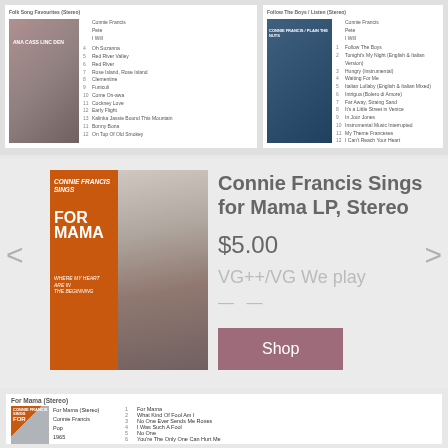[Figure (screenshot): Top strip showing two album cards with cover images and track listings for Connie Francis albums]
[Figure (photo): Connie Francis Sings for Mama LP album cover showing orange cover with woman portrait]
Connie Francis Sings for Mama LP, Stereo
$5.00
VG++/VG We play
Shop
For Mama (Stereo)
|  | Track Number | Track Title |
| --- | --- | --- |
| For Mama (Stereo) | 1 | For Mama |
| Connie Francis | 2 | What Kind Of Fool Am I |
| Pop | 3 | No One Ever Sends Me Roses |
| 1965 | 4 | I Was Such A Fool |
|  | 5 | No One |
|  | 6 | You're The Only One Can Hurt Me |